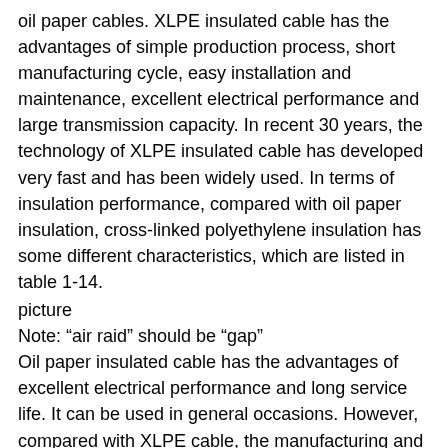oil paper cables. XLPE insulated cable has the advantages of simple production process, short manufacturing cycle, easy installation and maintenance, excellent electrical performance and large transmission capacity. In recent 30 years, the technology of XLPE insulated cable has developed very fast and has been widely used. In terms of insulation performance, compared with oil paper insulation, cross-linked polyethylene insulation has some different characteristics, which are listed in table 1-14.
picture
Note: “air raid” should be “gap”
Oil paper insulated cable has the advantages of excellent electrical performance and long service life. It can be used in general occasions. However, compared with XLPE cable, the manufacturing and installation process of oil paper ABC Cable is more complex and the cost is higher. oil filled cable with paper plastic composite insulation with low dielectric loss and alkylbenzene synthetic oil with good aging resistance as insulation structure, suitable for